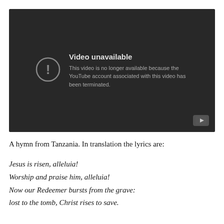[Figure (screenshot): YouTube video unavailable error screen on dark background. Shows an exclamation mark icon inside a circle, with text 'Video unavailable' and 'This video is no longer available because the YouTube account associated with this video has been terminated.' A YouTube logo button appears in the bottom right corner.]
A hymn from Tanzania. In translation the lyrics are:
Jesus is risen, alleluia!
Worship and praise him, alleluia!
Now our Redeemer bursts from the grave:
lost to the tomb, Christ rises to save.